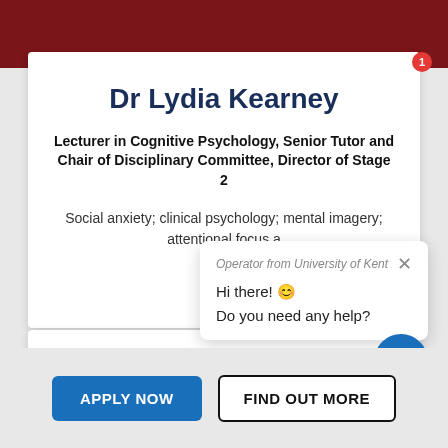[Figure (screenshot): Dark red university website top navigation bar]
Dr Lydia Kearney
Lecturer in Cognitive Psychology, Senior Tutor and Chair of Disciplinary Committee, Director of Stage 2
Social anxiety; clinical psychology; mental imagery; attentional focus a
[Figure (other): Chat icon circle button (gray)]
[Figure (other): Chat popup overlay from Operator from University of Kent saying: Hi there! 😊 Do you need any help?]
[Figure (other): Blue chat bubble button with red badge showing 1]
APPLY NOW
FIND OUT MORE